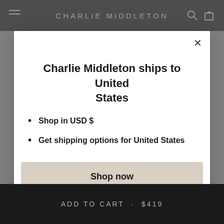CHARLIE MIDDLETON
Charlie Middleton ships to United States
Shop in USD $
Get shipping options for United States
Shop now
Change shipping country
ADD TO CART · $419